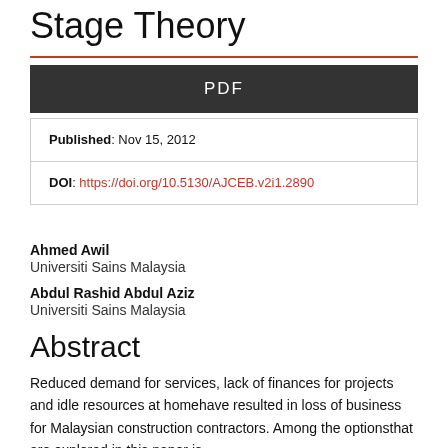Stage Theory
PDF
| Published: Nov 15, 2012 |
| DOI: https://doi.org/10.5130/AJCEB.v2i1.2890 |
Ahmed Awil
Universiti Sains Malaysia
Abdul Rashid Abdul Aziz
Universiti Sains Malaysia
Abstract
Reduced demand for services, lack of finances for projects and idle resources at homehave resulted in loss of business for Malaysian construction contractors. Among the optionsthat are explored in this paper is